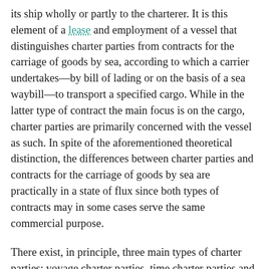its ship wholly or partly to the charterer. It is this element of a lease and employment of a vessel that distinguishes charter parties from contracts for the carriage of goods by sea, according to which a carrier undertakes—by bill of lading or on the basis of a sea waybill—to transport a specified cargo. While in the latter type of contract the main focus is on the cargo, charter parties are primarily concerned with the vessel as such. In spite of the aforementioned theoretical distinction, the differences between charter parties and contracts for the carriage of goods by sea are practically in a state of flux since both types of contracts may in some cases serve the same commercial purpose.
There exist, in principle, three main types of charter parties: voyage charter parties, time charter parties and bareboat charter parties. The distinction between these different types of charter parties is on the one hand drawn upon the extent to